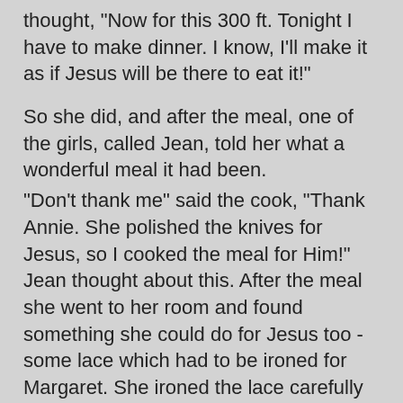thought, "Now for this 300 ft. Tonight I have to make dinner. I know, I'll make it as if Jesus will be there to eat it!"
So she did, and after the meal, one of the girls, called Jean, told her what a wonderful meal it had been.
"Don't thank me" said the cook, "Thank Annie. She polished the knives for Jesus, so I cooked the meal for Him!" Jean thought about this. After the meal she went to her room and found something she could do for Jesus too - some lace which had to be ironed for Margaret. She ironed the lace carefully and took it to Margaret.
"How beautifully you have done this!" Said Margaret, when she saw the lace.
"Don't thank me" said Jean, "Thank Annie. She